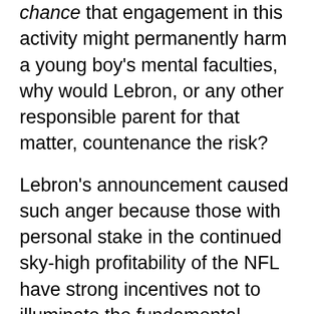chance that engagement in this activity might permanently harm a young boy's mental faculties, why would Lebron, or any other responsible parent for that matter, countenance the risk?
Lebron's announcement caused such anger because those with personal stake in the continued sky-high profitability of the NFL have strong incentives not to illuminate the fundamental problem at the heart of football: it will never be truly safe. It will never be reasonable to subject young boys to ferocious blows to the cranium, whatever adjustments to